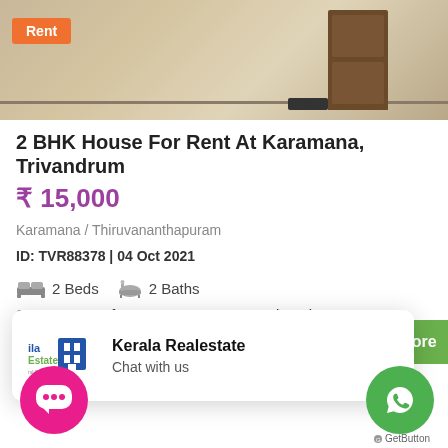[Figure (photo): Interior photo of a house entrance/corridor with a dark wooden door and a mat on the floor. Orange 'Rent' badge overlaid on top-left.]
2 BHK House For Rent At Karamana, Trivandrum
₹ 15,000
Karamana / Thiruvananthapuram
ID: TVR88378 | 04 Oct 2021
2 Beds  2 Baths
2 BHK House for Rent at Karamana, Trivandrum
[Figure (other): Kerala Realestate chat popup widget with logo showing 'ila Estate' branding, text 'Kerala Realestate' and 'Chat with us']
w More
[Figure (other): Pink circular chat bubble button with three dots]
[Figure (other): Green circular WhatsApp button]
GetButton